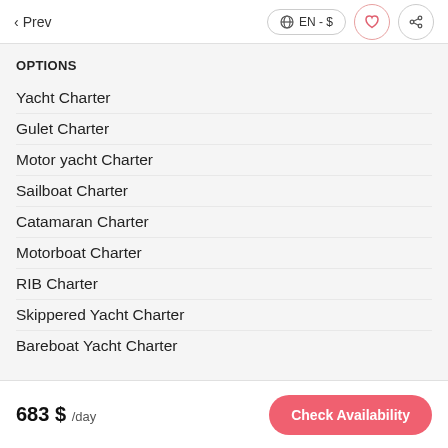< Prev | EN - $ | ♡ | share
OPTIONS
Yacht Charter
Gulet Charter
Motor yacht Charter
Sailboat Charter
Catamaran Charter
Motorboat Charter
RIB Charter
Skippered Yacht Charter
Bareboat Yacht Charter
Crewed Yacht Charter
683 $ /day   Check Availability